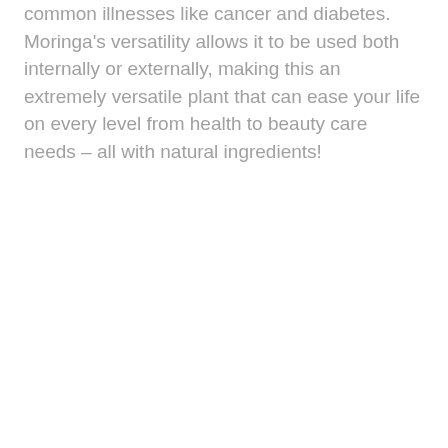common illnesses like cancer and diabetes. Moringa's versatility allows it to be used both internally or externally, making this an extremely versatile plant that can ease your life on every level from health to beauty care needs – all with natural ingredients!